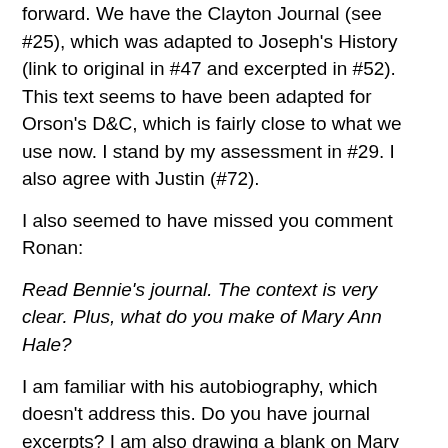forward. We have the Clayton Journal (see #25), which was adapted to Joseph's History (link to original in #47 and excerpted in #52). This text seems to have been adapted for Orson's D&C, which is fairly close to what we use now. I stand by my assessment in #29. I also agree with Justin (#72).
I also seemed to have missed you comment Ronan:
Read Bennie's journal. The context is very clear. Plus, what do you make of Mary Ann Hale?
I am familiar with his autobiography, which doesn't address this. Do you have journal excerpts? I am also drawing a blank on Mary Ann Hale, if you care to enlighten me.